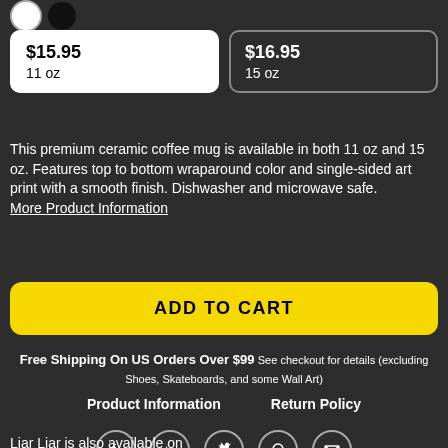[Figure (other): Two circular color swatch icons: white and black]
| $15.95
11 oz | $16.95
15 oz |
This premium ceramic coffee mug is available in both 11 oz and 15 oz. Features top to bottom wraparound color and single-sided art print with a smooth finish. Dishwasher and microwave safe. More Product Information
ADD TO CART
Free Shipping On US Orders Over $99 See checkout for details (excluding Shoes, Skateboards, and some Wall Art)
Product Information
Return Policy
[Figure (other): Social media sharing icons row: Facebook, Tumblr, Twitter, Pinterest, Email]
Liar Liar is also available on